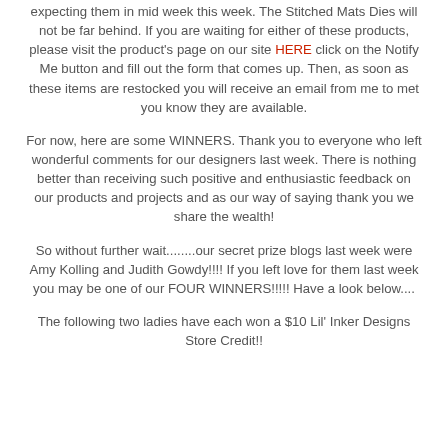expecting them in mid week this week. The Stitched Mats Dies will not be far behind. If you are waiting for either of these products, please visit the product's page on our site HERE click on the Notify Me button and fill out the form that comes up. Then, as soon as these items are restocked you will receive an email from me to met you know they are available.
For now, here are some WINNERS. Thank you to everyone who left wonderful comments for our designers last week. There is nothing better than receiving such positive and enthusiastic feedback on our products and projects and as our way of saying thank you we share the wealth!
So without further wait........our secret prize blogs last week were Amy Kolling and Judith Gowdy!!!! If you left love for them last week you may be one of our FOUR WINNERS!!!!! Have a look below....
The following two ladies have each won a $10 Lil' Inker Designs Store Credit!!